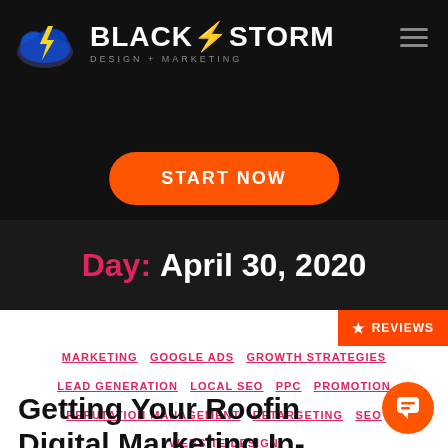[Figure (logo): BlackStorm Design + Marketing logo with lightning bolt cloud icon and text]
START NOW
Day: April 30, 2020
★ REVIEWS
MARKETING  GOOGLE ADS  GROWTH STRATEGIES  LEAD GENERATION  LOCAL SEO  PPC  PROMOTION  REPUTATION MANAGEMENT  RETARGETING  SEO  WEBSITE DESIGN
Getting Your Roofing Digital Marketing In-